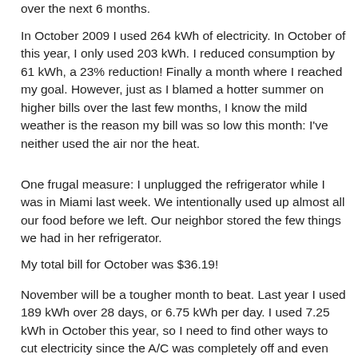over the next 6 months.
In October 2009 I used 264 kWh of electricity. In October of this year, I only used 203 kWh. I reduced consumption by 61 kWh, a 23% reduction! Finally a month where I reached my goal. However, just as I blamed a hotter summer on higher bills over the last few months, I know the mild weather is the reason my bill was so low this month: I've neither used the air nor the heat.
One frugal measure: I unplugged the refrigerator while I was in Miami last week. We intentionally used up almost all our food before we left. Our neighbor stored the few things we had in her refrigerator.
My total bill for October was $36.19!
November will be a tougher month to beat. Last year I used 189 kWh over 28 days, or 6.75 kWh per day. I used 7.25 kWh in October this year, so I need to find other ways to cut electricity since the A/C was completely off and even the fridge was off for several days. What else can I cut? This will be difficult.